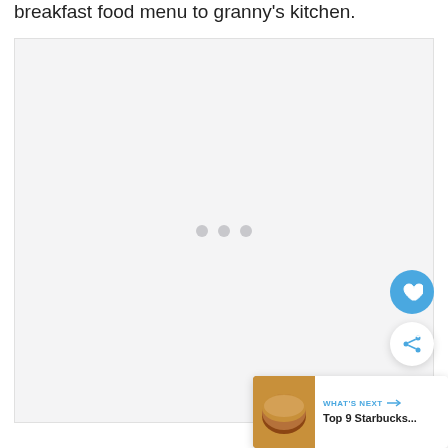breakfast food menu to granny's kitchen.
[Figure (other): Large light gray placeholder image box with three gray loading dots in the center]
[Figure (other): Heart (favorite) button - blue circular button with white heart icon]
[Figure (other): Share button - white circular button with blue share/network icon]
[Figure (other): What's Next card showing Top 9 Starbucks... with a food thumbnail image]